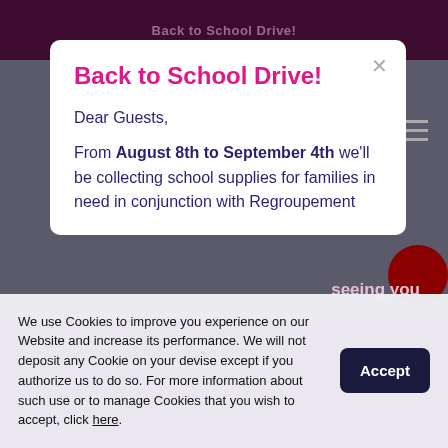Back to School Drive!
Back to School Drive!
Dear Guests,
From August 8th to September 4th we'll be collecting school supplies for families in need in conjunction with Regroupement Partage (Opération sac à dos).
We use Cookies to improve you experience on our Website and increase its performance. We will not deposit any Cookie on your devise except if you authorize us to do so. For more information about such use or to manage Cookies that you wish to accept, click here.